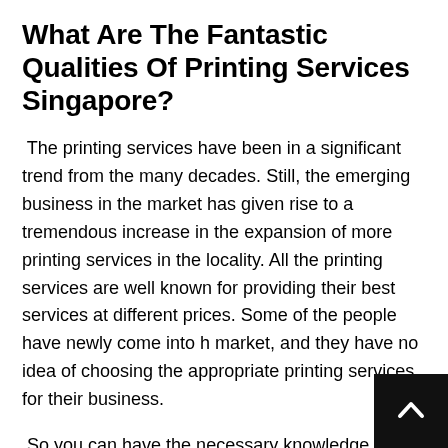What Are The Fantastic Qualities Of Printing Services Singapore?
The printing services have been in a significant trend from the many decades. Still, the emerging business in the market has given rise to a tremendous increase in the expansion of more printing services in the locality. All the printing services are well known for providing their best services at different prices. Some of the people have newly come into h market, and they have no idea of choosing the appropriate printing services for their business.
So you can have the necessary knowledge about some of the attributes of the printing services agency which will assist you in choosing the most